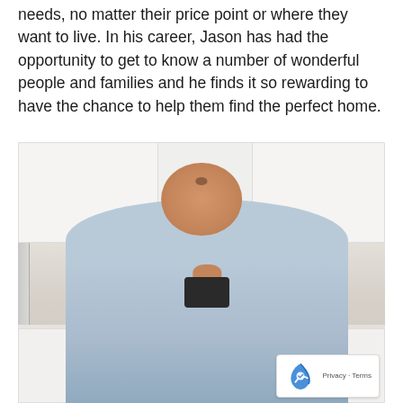needs, no matter their price point or where they want to live. In his career, Jason has had the opportunity to get to know a number of wonderful people and families and he finds it so rewarding to have the chance to help them find the perfect home.
[Figure (photo): Professional photo of Jason, a bald heavyset man with a goatee, smiling, wearing a light blue button-up shirt over a black undershirt, standing in a bright white modern kitchen with white cabinetry and a range hood behind him. A reCAPTCHA badge appears in the bottom right corner of the image.]